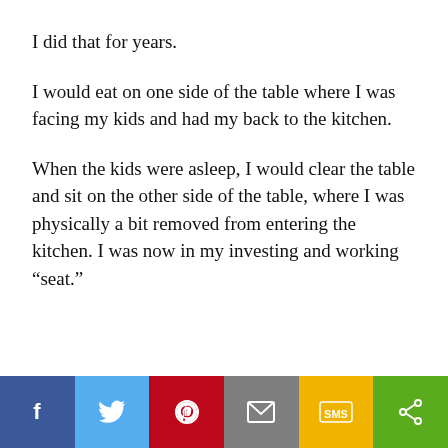I did that for years.
I would eat on one side of the table where I was facing my kids and had my back to the kitchen.
When the kids were asleep, I would clear the table and sit on the other side of the table, where I was physically a bit removed from entering the kitchen. I was now in my investing and working “seat.”
[Figure (other): Social sharing bar with six buttons: Facebook (blue), Twitter (light blue), Pinterest (red), Email (gray), SMS (yellow/gold), Share (green)]